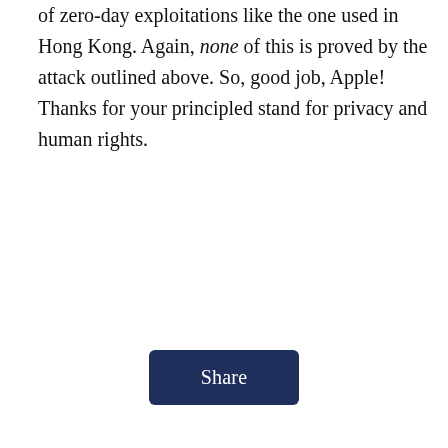of zero-day exploitations like the one used in Hong Kong. Again, none of this is proved by the attack outlined above. So, good job, Apple! Thanks for your principled stand for privacy and human rights.
[Figure (other): A dark navy blue button labeled 'Share']
Google is Playing Defense (But in a Good Way)
What's New: Google executives informed employees last week that it will be competing for contracts with the U.S. military, and that this does not conflict with the